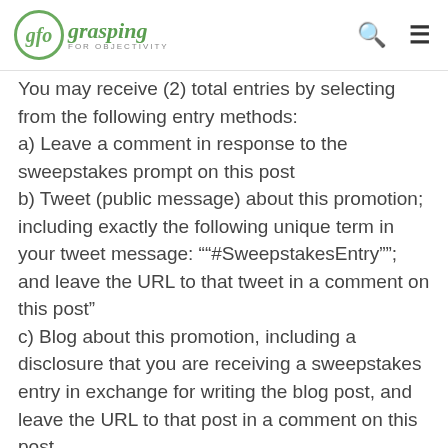gfo grasping FOR OBJECTIVITY
You may receive (2) total entries by selecting from the following entry methods:
a) Leave a comment in response to the sweepstakes prompt on this post
b) Tweet (public message) about this promotion; including exactly the following unique term in your tweet message: "“#SweepstakesEntry”"; and leave the URL to that tweet in a comment on this post”
c) Blog about this promotion, including a disclosure that you are receiving a sweepstakes entry in exchange for writing the blog post, and leave the URL to that post in a comment on this post